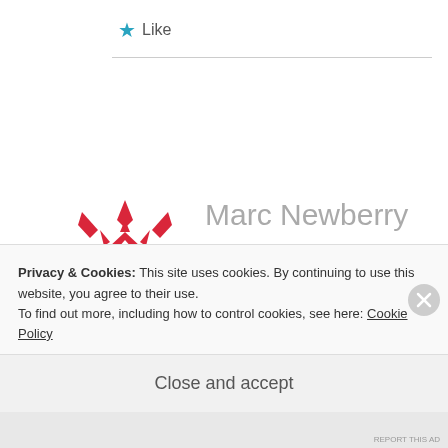★ Like
[Figure (illustration): Red snowflake/geometric pattern avatar for Marc Newberry]
Marc Newberry
SEPTEMBER 4, 2016 AT 10:58 AM
Hello Don
Privacy & Cookies: This site uses cookies. By continuing to use this website, you agree to their use.
To find out more, including how to control cookies, see here: Cookie Policy
Close and accept